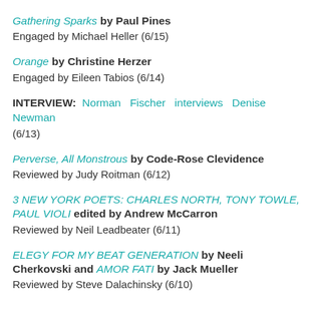Gathering Sparks by Paul Pines
Engaged by Michael Heller (6/15)
Orange by Christine Herzer
Engaged by Eileen Tabios (6/14)
INTERVIEW: Norman Fischer interviews Denise Newman
(6/13)
Perverse, All Monstrous by Code-Rose Clevidence
Reviewed by Judy Roitman (6/12)
3 NEW YORK POETS: CHARLES NORTH, TONY TOWLE, PAUL VIOLI edited by Andrew McCarron
Reviewed by Neil Leadbeater (6/11)
ELEGY FOR MY BEAT GENERATION by Neeli Cherkovski and AMOR FATI by Jack Mueller
Reviewed by Steve Dalachinsky (6/10)